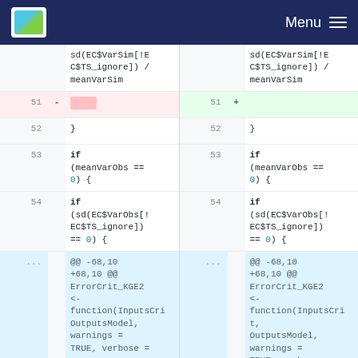Menu
[Figure (screenshot): Code diff view showing two panels side by side. Left panel shows removed lines, right panel shows added lines. Lines 51-54 and hunk header for ErrorCrit_KGE2 function are shown.]